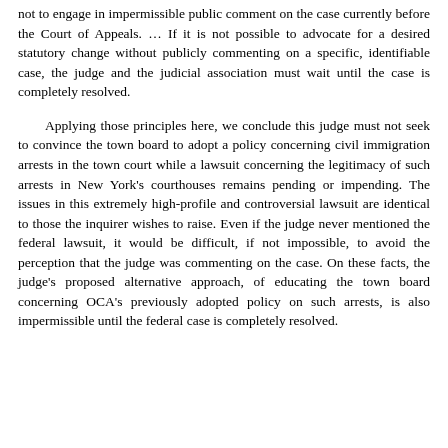not to engage in impermissible public comment on the case currently before the Court of Appeals. … If it is not possible to advocate for a desired statutory change without publicly commenting on a specific, identifiable case, the judge and the judicial association must wait until the case is completely resolved.
Applying those principles here, we conclude this judge must not seek to convince the town board to adopt a policy concerning civil immigration arrests in the town court while a lawsuit concerning the legitimacy of such arrests in New York's courthouses remains pending or impending. The issues in this extremely high-profile and controversial lawsuit are identical to those the inquirer wishes to raise. Even if the judge never mentioned the federal lawsuit, it would be difficult, if not impossible, to avoid the perception that the judge was commenting on the case. On these facts, the judge's proposed alternative approach, of educating the town board concerning OCA's previously adopted policy on such arrests, is also impermissible until the federal case is completely resolved.